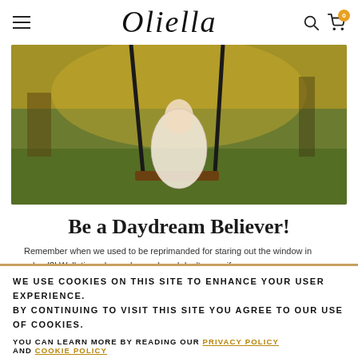Oliella — navigation bar with hamburger menu, logo, search and cart icons
[Figure (photo): Child in floral dress sitting on a wooden swing outdoors on green grass with warm golden light]
Be a Daydream Believer!
Remember when we used to be reprimanded for staring out the window in school?! Well, times have changed, and don't worry if
WE USE COOKIES ON THIS SITE TO ENHANCE YOUR USER EXPERIENCE. BY CONTINUING TO VISIT THIS SITE YOU AGREE TO OUR USE OF COOKIES. YOU CAN LEARN MORE BY READING OUR PRIVACY POLICY AND COOKIE POLICY
I ACCEPT